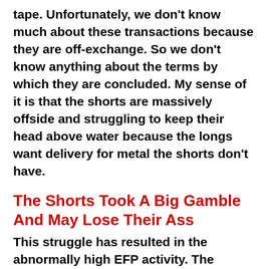tape. Unfortunately, we don't know much about these transactions because they are off-exchange. So we don't know anything about the terms by which they are concluded. My sense of it is that the shorts are massively offside and struggling to keep their head above water because the longs want delivery for metal the shorts don't have.
The Shorts Took A Big Gamble And May Lose Their Ass
This struggle has resulted in the abnormally high EFP activity. The shorts have used EFPs to move their position off the exchange so that governments can settle contracts with